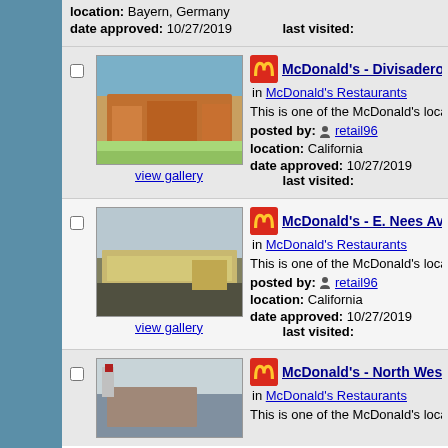location: Bayern, Germany
date approved: 10/27/2019   last visited:
[Figure (photo): McDonald's Divisadero St Fresno exterior photo]
view gallery
McDonald's - Divisadero St - Fresno... in McDonald's Restaurants
This is one of the McDonald's locations in Fresn...
posted by: retail96
location: California
date approved: 10/27/2019   last visited:
[Figure (photo): McDonald's E. Nees Ave Fresno exterior photo]
view gallery
McDonald's - E. Nees Ave - Fresno,... in McDonald's Restaurants
This is one of the McDonald's locations in Fresn...
posted by: retail96
location: California
date approved: 10/27/2019   last visited:
[Figure (photo): McDonald's North West Ave Fresno exterior photo]
McDonald's - North West Ave - Fres... in McDonald's Restaurants
This is one of the McDonald's locations in F...